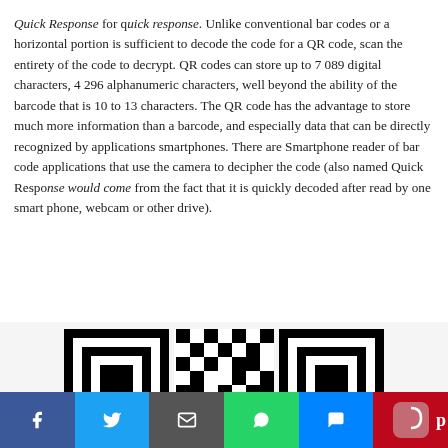Quick Response for quick response. Unlike conventional bar codes or a horizontal portion is sufficient to decode the code for a QR code, scan the entirety of the code to decrypt. QR codes can store up to 7 089 digital characters, 4 296 alphanumeric characters, well beyond the ability of the barcode that is 10 to 13 characters. The QR code has the advantage to store much more information than a barcode, and especially data that can be directly recognized by applications smartphones. There are Smartphone reader of bar code applications that use the camera to decipher the code (also named Quick Response would come from the fact that it is quickly decoded after read by one smart phone, webcam or other drive).
[Figure (other): QR code image showing the top portion of a QR code with three finder patterns visible]